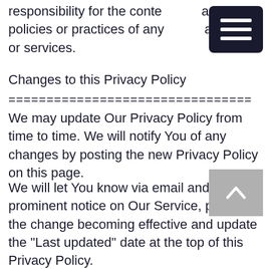responsibility for the content, privacy policies or practices of any third party sites or services.
Changes to this Privacy Policy
================================
We may update Our Privacy Policy from time to time. We will notify You of any changes by posting the new Privacy Policy on this page.
We will let You know via email and/or a prominent notice on Our Service, prior to the change becoming effective and update the "Last updated" date at the top of this Privacy Policy.
You are advised to review this Privacy Policy periodically for any changes. Changes to this Privacy Policy are effective when they are posted on this page.
Contact Us